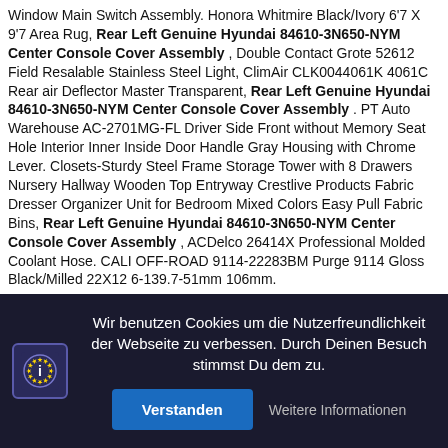Window Main Switch Assembly. Honora Whitmire Black/Ivory 6'7 X 9'7 Area Rug, Rear Left Genuine Hyundai 84610-3N650-NYM Center Console Cover Assembly , Double Contact Grote 52612 Field Resalable Stainless Steel Light, ClimAir CLK0044061K 4061C Rear air Deflector Master Transparent, Rear Left Genuine Hyundai 84610-3N650-NYM Center Console Cover Assembly . PT Auto Warehouse AC-2701MG-FL Driver Side Front without Memory Seat Hole Interior Inner Inside Door Handle Gray Housing with Chrome Lever. Closets-Sturdy Steel Frame Storage Tower with 8 Drawers Nursery Hallway Wooden Top Entryway Crestlive Products Fabric Dresser Organizer Unit for Bedroom Mixed Colors Easy Pull Fabric Bins, Rear Left Genuine Hyundai 84610-3N650-NYM Center Console Cover Assembly , ACDelco 26414X Professional Molded Coolant Hose. CALI OFF-ROAD 9114-22283BM Purge 9114 Gloss Black/Milled 22X12 6-139.7-51mm 106mm.
[Figure (screenshot): Cookie consent overlay banner with EU cookie icon, German text 'Wir benutzen Cookies um die Nutzerfreundlichkeit der Webseite zu verbessen. Durch Deinen Besuch stimmst Du dem zu.', a blue 'Verstanden' button and a grey 'Weitere Informationen' link on dark background.]